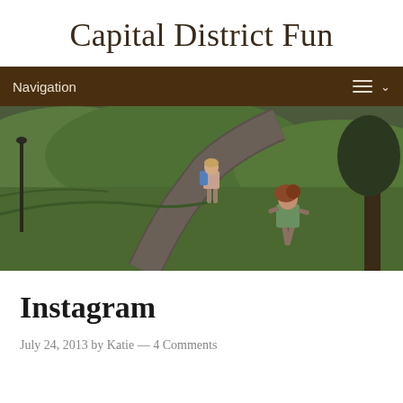Capital District Fun
Navigation
[Figure (photo): Two children running on a paved park path surrounded by green grass and trees. One child in a green outfit is in the foreground, another with a backpack is further ahead on the path.]
Instagram
July 24, 2013 by Katie — 4 Comments